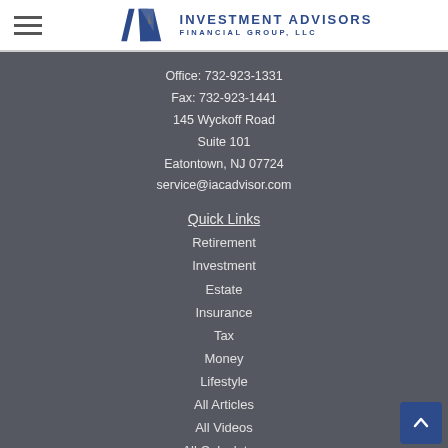[Figure (logo): Investment Advisors Financial Group, LLC logo with stylized 'IA' lettermark in dark blue and company name text]
Office: 732-923-1331
Fax: 732-923-1441
145 Wyckoff Road
Suite 101
Eatontown, NJ 07724
service@iacadvisor.com
Quick Links
Retirement
Investment
Estate
Insurance
Tax
Money
Lifestyle
All Articles
All Videos
All Calculators
All Presentations